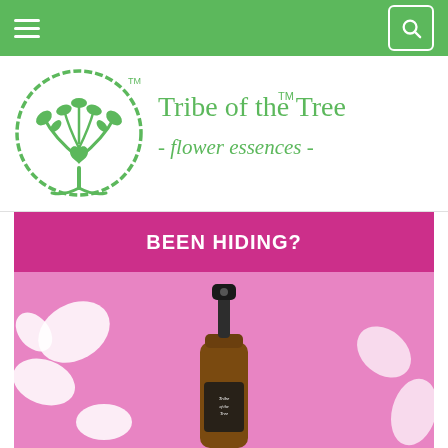Navigation bar with hamburger menu and search button
[Figure (logo): Tribe of the Tree flower essences logo — green tree with heart inside a circle, with the text 'Tribe of the Tree™ - flower essences -' in green]
BEEN HIDING?
[Figure (photo): Pink background with white floral/petal decorative shapes and an amber glass spray bottle with black cap labeled 'Tribe of the Tree']